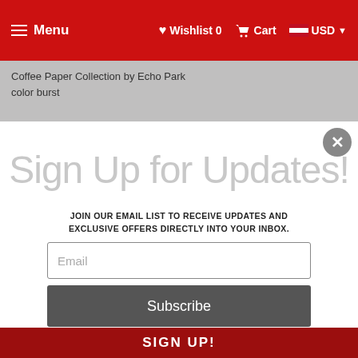Menu  Wishlist 0  Cart  USD
Coffee Paper Collection by Echo Park
color burst
Sign Up for Updates!
JOIN OUR EMAIL LIST TO RECEIVE UPDATES AND EXCLUSIVE OFFERS DIRECTLY INTO YOUR INBOX.
Email
Subscribe
*By completing this form you are signing up to receive our emails and can unsubscribe at any time.
SIGN UP!